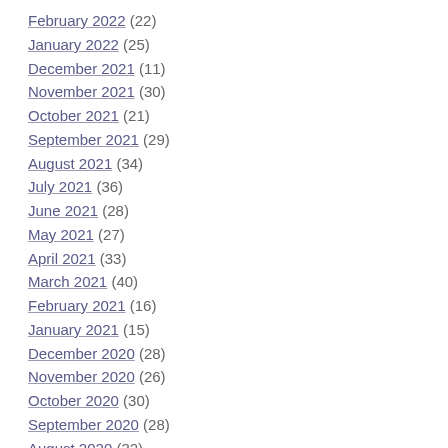February 2022 (22)
January 2022 (25)
December 2021 (11)
November 2021 (30)
October 2021 (21)
September 2021 (29)
August 2021 (34)
July 2021 (36)
June 2021 (28)
May 2021 (27)
April 2021 (33)
March 2021 (40)
February 2021 (16)
January 2021 (15)
December 2020 (28)
November 2020 (26)
October 2020 (30)
September 2020 (28)
August 2020 (32)